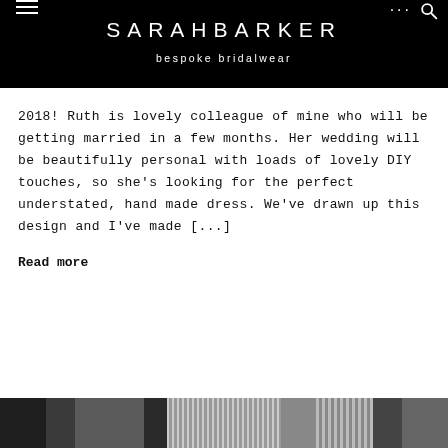SARAHBARKER bespoke bridalwear
2018! Ruth is lovely colleague of mine who will be getting married in a few months. Her wedding will be beautifully personal with loads of lovely DIY touches, so she's looking for the perfect understated, hand made dress. We've drawn up this design and I've made [...]
Read more
[Figure (photo): Black and white photo strip at bottom of page, partially visible]